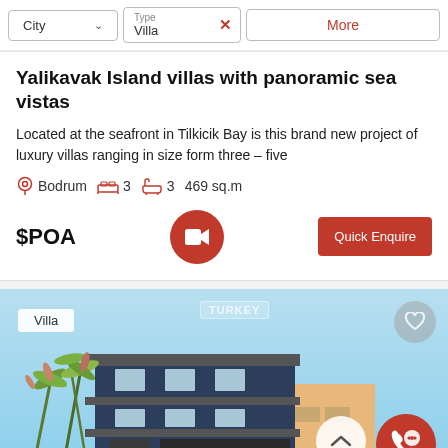[Figure (screenshot): Filter bar with City dropdown, Type=Villa filter with X close, and More button in red]
Yalikavak Island villas with panoramic sea vistas
Located at the seafront in Tilkicik Bay is this brand new project of luxury villas ranging in size form three – five
Bodrum  3  3  469 sq.m
$POA
[Figure (photo): Exterior photo of a modern villa building with plants/vegetation in foreground, blue sky background, Turkey label overlay, Villa badge, heart favourite button, scroll-up button, and call/chat button]